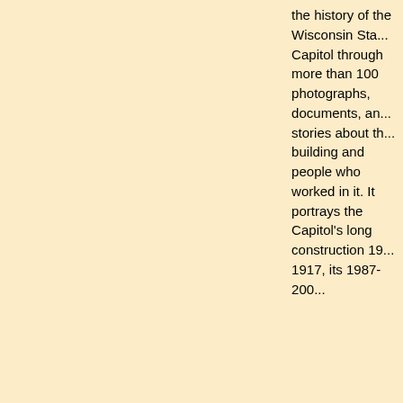the history of the Wisconsin State Capitol through more than 100 photographs, documents, and stories about the building and people who worked in it. It portrays the Capitol's long construction 19... 1917, its 1987-200...
2017_WI_Madison_Cap_History  125  WI -- Madison State Capitol History Gallery on 5th Floor
2017_WI_Madison_CapI  168  WI -- Madison State Capitol Interior Images
2012_WI_Madison_CapI  47  WI -- Madison State Capitol Interior Images
2007_WI_Madison_CapI  85  WI -- Madison State Capitol Interior Images
2017_WI_Madison_CapV  67  WI -- Madison